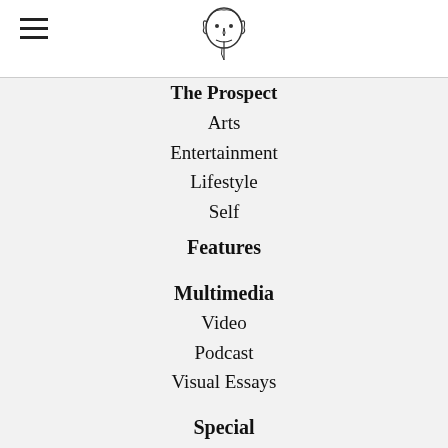The Prospect
The Prospect
Arts
Entertainment
Lifestyle
Self
Features
Multimedia
Video
Podcast
Visual Essays
Special
Masthead
Contact Us
About
Advertise
Archives
Submit a Tip
Donate
Privacy